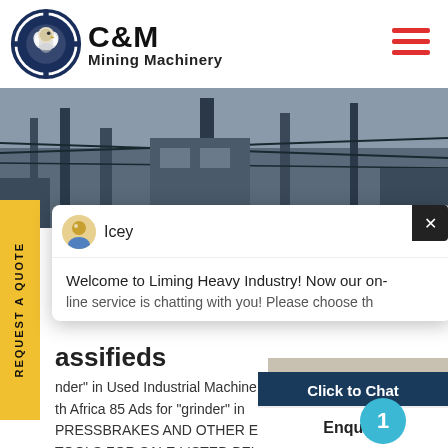[Figure (logo): C&M Mining Machinery logo with eagle/gear emblem in navy blue, company name in bold black text]
[Figure (photo): Industrial mining facility photo showing overhead structures and equipment in blue tones]
[Figure (screenshot): Chat popup from Icey (customer service avatar) saying: Welcome to Liming Heavy Industry! Now our on-line service is chatting with you! Please choose th...]
assifieds
nder" in Used Industrial Machine
th Africa 85 Ads for "grinder" in
PRESSBRAKES AND OTHER ENGINEE
TOOLS FOR SALE LISTED BELOWCON
BRUCE0835873194press brakes,pre
[Figure (photo): Customer service woman wearing headset, smiling, with teal notification badge showing number 1]
Click to Chat
Enquiry